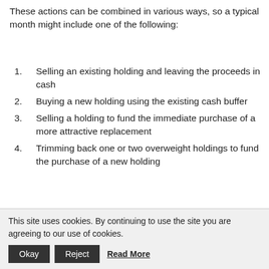These actions can be combined in various ways, so a typical month might include one of the following:
Selling an existing holding and leaving the proceeds in cash
Buying a new holding using the existing cash buffer
Selling a holding to fund the immediate purchase of a more attractive replacement
Trimming back one or two overweight holdings to fund the purchase of a new holding
Trimming back an overweight holding to top up…
This site uses cookies. By continuing to use the site you are agreeing to our use of cookies.